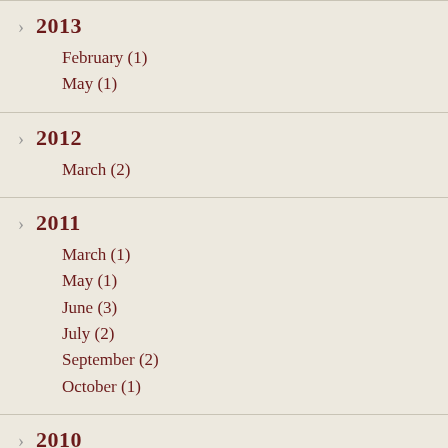2013
February (1)
May (1)
2012
March (2)
2011
March (1)
May (1)
June (3)
July (2)
September (2)
October (1)
2010
October (1)